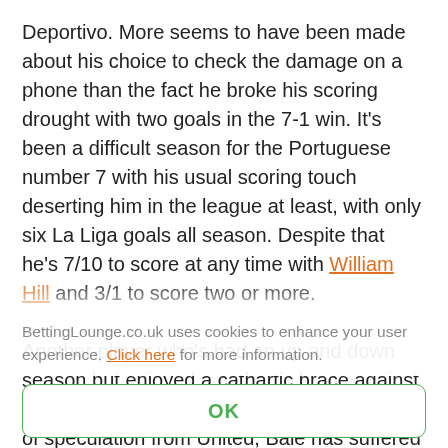Deportivo. More seems to have been made about his choice to check the damage on a phone than the fact he broke his scoring drought with two goals in the 7-1 win. It's been a difficult season for the Portuguese number 7 with his usual scoring touch deserting him in the league at least, with only six La Liga goals all season. Despite that he's 7/10 to score at any time with William Hill and 3/1 to score two or more.

Another player who's had an up and down season but enjoyed a cathartic brace against Deportivo was Gareth Bale. Also, the subject of speculation from United, Bale has suffered an injury ravaged campaign only making nine La Liga appearances. He does however have four goals in his last three league games and six in total for the season – as many as Ronaldo. He also has eight in
BettingLounge.co.uk uses cookies to enhance your user experience. Click here for more information.
OK